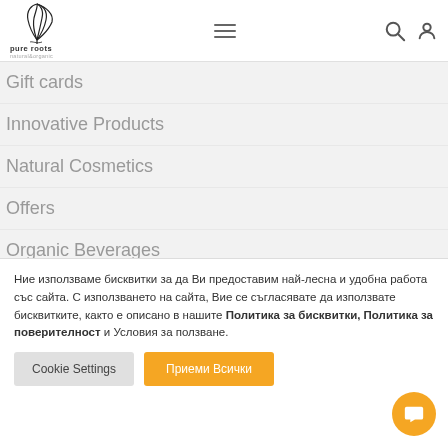[Figure (logo): Pure Roots natural & organic logo with stylized plant/feather graphic]
Gift cards
Innovative Products
Natural Cosmetics
Offers
Organic Beverages
Supplements
Ние използваме бисквитки за да Ви предоставим най-лесна и удобна работа със сайта. С използването на сайта, Вие се съгласявате да използвате бисквитките, както е описано в нашите Политика за бисквитки, Политика за поверителност и Условия за ползване.
Cookie Settings | Приеми Всички